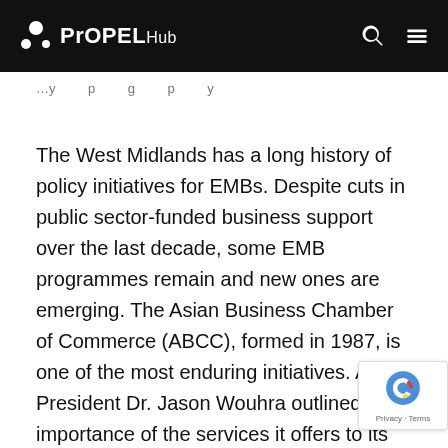PrOPEL Hub
…y … p … g … p … y …
The West Midlands has a long history of policy initiatives for EMBs. Despite cuts in public sector-funded business support over the last decade, some EMB programmes remain and new ones are emerging. The Asian Business Chamber of Commerce (ABCC), formed in 1987, is one of the most enduring initiatives. ABCC President Dr. Jason Wouhra outlined the importance of the services it offers to its members, which include advocacy, practical business support and networking. The ABCC's services have been in high demand in the pandemic; it has provided advice on accessing finance, the furlough scheme, and emergency